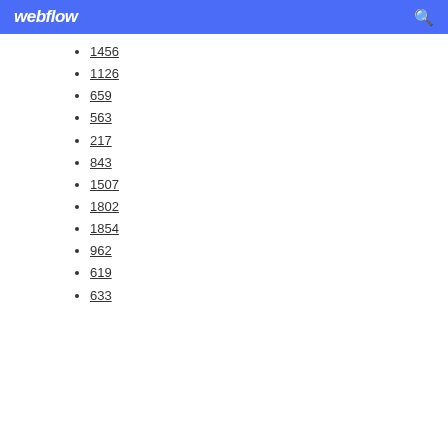webflow
1456
1126
659
563
217
843
1507
1802
1854
962
619
633